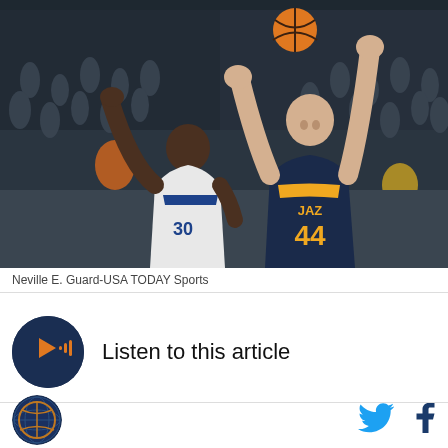[Figure (photo): NBA basketball action photo: Utah Jazz player #44 in dark navy/yellow jersey shooting over a Golden State Warriors defender in white/blue jersey, arena crowd in background]
Neville E. Guard-USA TODAY Sports
[Figure (logo): Audio player icon - dark navy circle with orange play button and sound wave bars]
Listen to this article
[Figure (logo): Golden State Warriors globe logo - circular logo with world map and basketball]
[Figure (logo): Twitter bird icon in cyan/blue]
[Figure (logo): Facebook f icon in dark blue]